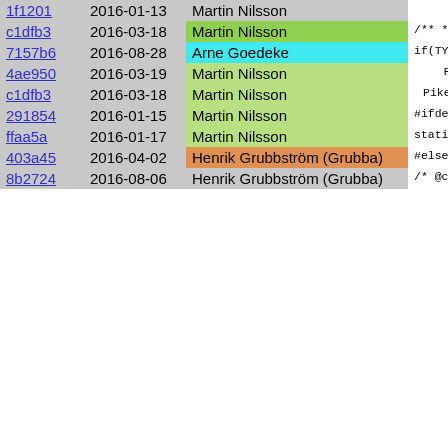| Hash | Date | Author | Code |
| --- | --- | --- | --- |
| 1f1201 | 2016-01-13 | Martin Nilsson |  |
| c1dfb3 | 2016-03-18 | Martin Nilsson | /**
 * Generates
 * random_st
 */
PMOD_EXPORT
{
    struct sva
        simple_r
    if(!random
        Pike_er
    push_int(1
    apply_sval |
| 7157b6 | 2016-08-28 | Arne Goedeke | if(TYPEOF( |
| 4ae950 | 2016-03-19 | Martin Nilsson | Pike_sp |
| c1dfb3 | 2016-03-18 | Martin Nilsson | Pike_err
} |
| 291854 | 2016-01-15 | Martin Nilsson | #ifdef __NT_
#include <w: |
| ffaa5a | 2016-01-17 | Martin Nilsson | static HCRY |
| 403a45 | 2016-04-02 | Henrik Grubbström (Grubba) | #else
static int r
#endif |
| 8b2724 | 2016-08-06 | Henrik Grubbström (Grubba) | /* @class |